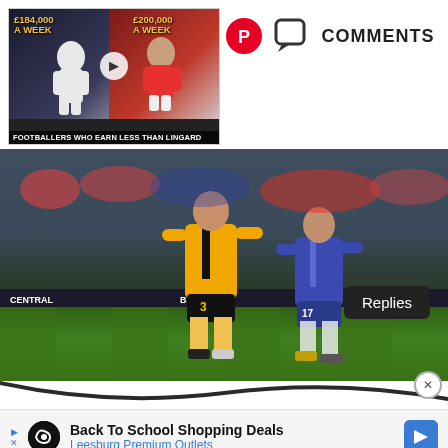[Figure (screenshot): Video thumbnail showing two footballers with salary text overlays: £184,000 A Week and £200,000 A Week. Caption: Footballers Who Earn Less Than Lingard]
[Figure (other): Pinterest share icon (red circle with P)]
[Figure (other): Comment icon (speech bubble outline)]
COMMENTS
[Figure (photo): Football match action photo: Wolverhampton player number 3 in gold/black kit competing with Arsenal player number 17 in blue kit on a green pitch with stadium crowd in background. A 'Replies' badge overlaid in bottom right.]
Replies
[Figure (other): Advertisement: Back To School Shopping Deals - Leesburg Premium Outlets]